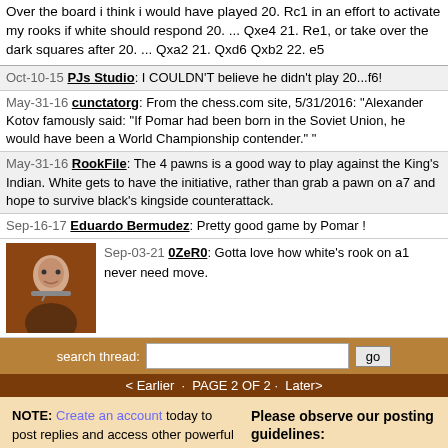Over the board i think i would have played 20. Rc1 in an effort to activate my rooks if white should respond 20. ... Qxe4 21. Re1, or take over the dark squares after 20. ... Qxa2 21. Qxd6 Qxb2 22. e5
Oct-10-15 PJs Studio: I COULDN'T believe he didn't play 20...f6!
May-31-16 cunctatorg: From the chess.com site, 5/31/2016: "Alexander Kotov famously said: "If Pomar had been born in the Soviet Union, he would have been a World Championship contender." "
May-31-16 RookFile: The 4 pawns is a good way to play against the King's Indian. White gets to have the initiative, rather than grab a pawn on a7 and hope to survive black's kingside counterattack.
Sep-16-17 Eduardo Bermudez: Pretty good game by Pomar !
[Figure (photo): Avatar photo of a man]
Sep-03-21 0ZeR0: Gotta love how white's rook on a1 never need move.
search thread: [input] go
< Earlier · PAGE 2 OF 2 · Later>
NOTE: Create an account today to post replies and access other powerful features which are available only to registered users. Becoming a member is free, anonymous, and takes less than 1 minute! If you already have a username, then simply login under your username now to join the discussion.
Please observe our posting guidelines:
No obscene, racist, sexist, or profane language.
No spamming, advertising, duplicate, or gibberish posts.
No vitriolic or systematic personal attacks against other members.
Nothing in violation of United States law.
No cyberstalking or malicious